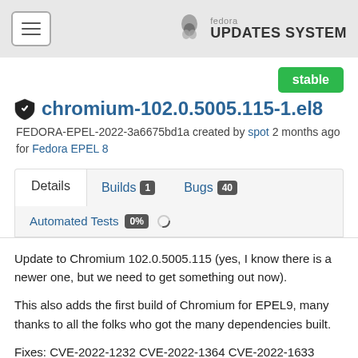Fedora UPDATES SYSTEM
chromium-102.0.5005.115-1.el8
FEDORA-EPEL-2022-3a6675bd1a created by spot 2 months ago for Fedora EPEL 8
stable
Details | Builds 1 | Bugs 40 | Automated Tests 0%
Update to Chromium 102.0.5005.115 (yes, I know there is a newer one, but we need to get something out now).
This also adds the first build of Chromium for EPEL9, many thanks to all the folks who got the many dependencies built.
Fixes: CVE-2022-1232 CVE-2022-1364 CVE-2022-1633 CVE-